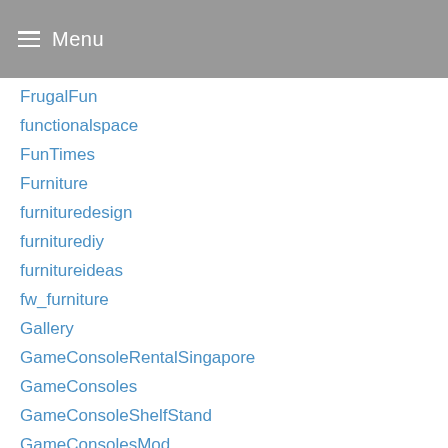Menu
FrugalFun
functionalspace
FunTimes
Furniture
furnituredesign
furniturediy
furnitureideas
fw_furniture
Gallery
GameConsoleRentalSingapore
GameConsoles
GameConsoleShelfStand
GameConsolesMod
gameroom
GameSystemTest
gamingroomideas
Garage